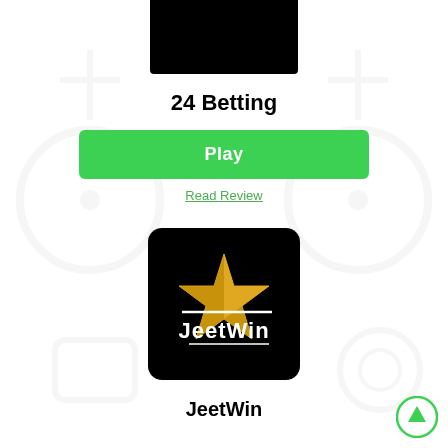[Figure (logo): 24 Betting logo - black rectangle at the top]
24 Betting
Play
Read Review
[Figure (logo): JeetWin logo - star icon with text JeetWin on black background]
JeetWin